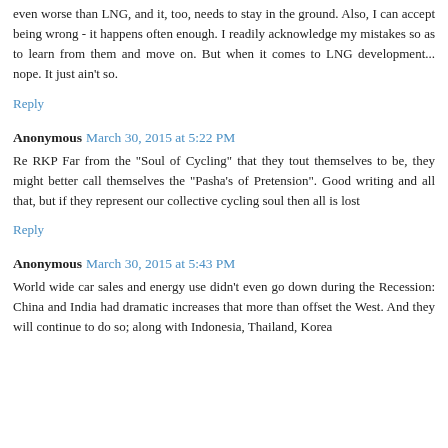even worse than LNG, and it, too, needs to stay in the ground. Also, I can accept being wrong - it happens often enough. I readily acknowledge my mistakes so as to learn from them and move on. But when it comes to LNG development... nope. It just ain't so.
Reply
Anonymous March 30, 2015 at 5:22 PM
Re RKP Far from the "Soul of Cycling" that they tout themselves to be, they might better call themselves the "Pasha's of Pretension". Good writing and all that, but if they represent our collective cycling soul then all is lost
Reply
Anonymous March 30, 2015 at 5:43 PM
World wide car sales and energy use didn't even go down during the Recession: China and India had dramatic increases that more than offset the West. And they will continue to do so; along with Indonesia, Thailand, Korea